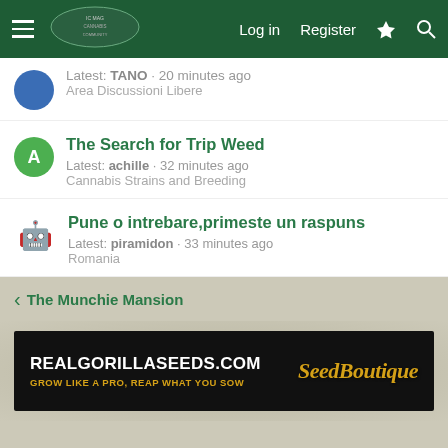Log in  Register  [icons]
Latest: TANO · 20 minutes ago
Area Discussioni Libere
The Search for Trip Weed
Latest: achille · 32 minutes ago
Cannabis Strains and Breeding
Pune o intrebare,primeste un raspuns
Latest: piramidon · 33 minutes ago
Romania
< The Munchie Mansion
[Figure (photo): Advertisement banner for RealGorillaSeeds.com / SeedBoutique. Text: REALGORILLASEEDS.COM, GROW LIKE A PRO, REAP WHAT YOU SOW, SeedBoutique (stylized)]
Contact us   Terms and rules   Privacy policy   Help   Home   [RSS icon]
Community platform by XenForo® © 2010-2021 XenForo Ltd.